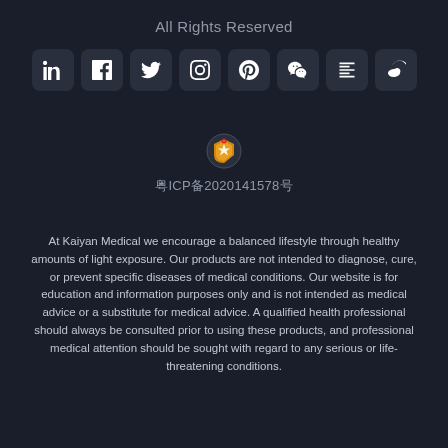All Rights Reserved
[Figure (infographic): Row of 8 social media icon buttons (LinkedIn, Facebook, Twitter, Instagram, Pinterest, WeChat, Toutiao/feed, Weibo) on dark rounded square backgrounds]
[Figure (other): Chinese internet police badge icon (orange/red emblem)]
粤ICP备2020141578号
At Kaiyan Medical we encourage a balanced lifestyle through healthy amounts of light exposure. Our products are not intended to diagnose, cure, or prevent specific diseases of medical conditions. Our website is for education and information purposes only and is not intended as medical advice or a substitute for medical advice. A qualified health professional should always be consulted prior to using these products, and professional medical attention should be sought with regard to any serious or life-threatening conditions.